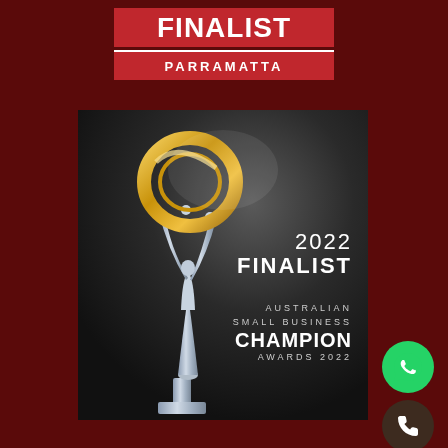[Figure (logo): Red banner with FINALIST text and PARRAMATTA subtitle, award badge logo]
[Figure (photo): 2022 Finalist Australian Small Business Champion Awards 2022 badge featuring a silver trophy statue holding a gold ring/circle, text overlay on dark background]
[Figure (logo): Green circular WhatsApp icon button]
[Figure (logo): Dark brown circular phone icon button]